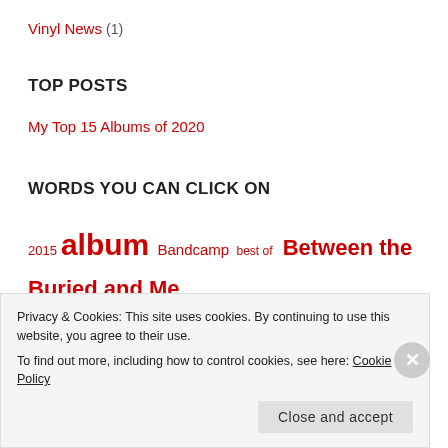Vinyl News (1)
TOP POSTS
My Top 15 Albums of 2020
WORDS YOU CAN CLICK ON
2015 album Bandcamp best of Between the Buried and Me Circa Survive cloudkicker coheed and cambria concert death grips
Privacy & Cookies: This site uses cookies. By continuing to use this website, you agree to their use. To find out more, including how to control cookies, see here: Cookie Policy
Close and accept